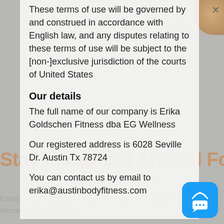These terms of use will be governed by and construed in accordance with English law, and any disputes relating to these terms of use will be subject to the [non-]exclusive jurisdiction of the courts of United States
Our details
The full name of our company is Erika Goldschen Fitness dba EG Wellness
Our registered address is 6028 Seville Dr. Austin Tx 78724
You can contact us by email to erika@austinbodyfitness.com